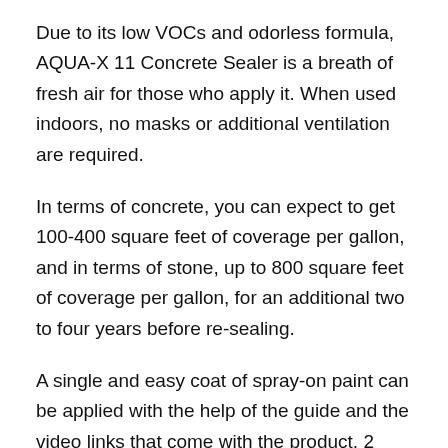Due to its low VOCs and odorless formula, AQUA-X 11 Concrete Sealer is a breath of fresh air for those who apply it. When used indoors, no masks or additional ventilation are required.
In terms of concrete, you can expect to get 100-400 square feet of coverage per gallon, and in terms of stone, up to 800 square feet of coverage per gallon, for an additional two to four years before re-sealing.
A single and easy coat of spray-on paint can be applied with the help of the guide and the video links that come with the product. 2 hours for vehicles, 1 hour for pedestrians.